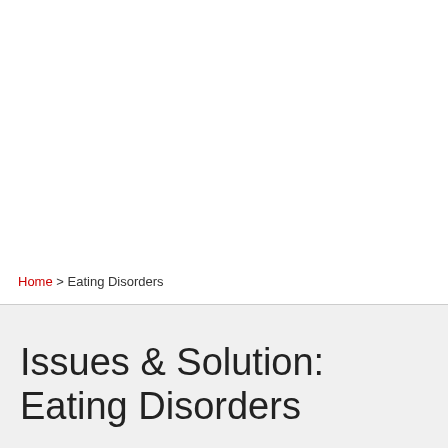Home > Eating Disorders
Issues & Solution: Eating Disorders